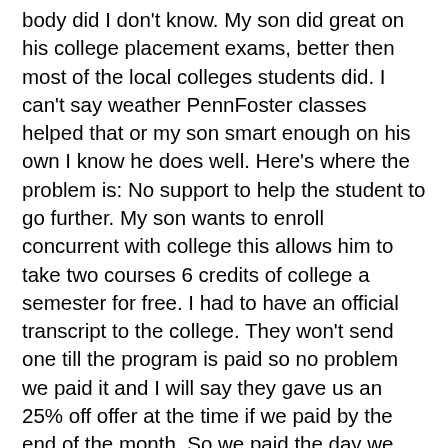body did I don't know. My son did great on his college placement exams, better then most of the local colleges students did. I can't say weather PennFoster classes helped that or my son smart enough on his own I know he does well. Here's where the problem is: No support to help the student to go further. My son wants to enroll concurrent with college this allows him to take two courses 6 credits of college a semester for free. I had to have an official transcript to the college. They won't send one till the program is paid so no problem we paid it and I will say they gave us an 25% off offer at the time if we paid by the end of the month. So we paid the day we received on the phone by credit card. So I jump on to order the transcript and I'm still showing a balance so I can't. I call them back and now I'm informed it takes 3 business days to drop off. So now we are screwed till the next week. I get up and check on Monday since that would be the 3 or forth business day depending on when they start counting and guess what its not cleared. I call